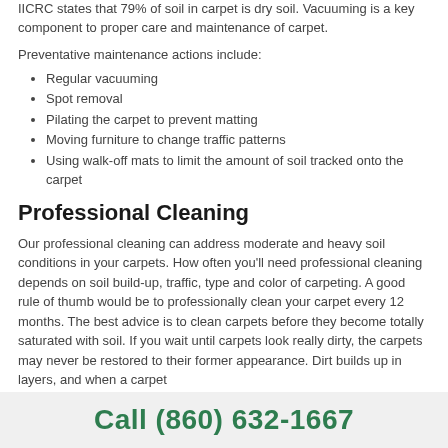IICRC states that 79% of soil in carpet is dry soil. Vacuuming is a key component to proper care and maintenance of carpet.
Preventative maintenance actions include:
Regular vacuuming
Spot removal
Pilating the carpet to prevent matting
Moving furniture to change traffic patterns
Using walk-off mats to limit the amount of soil tracked onto the carpet
Professional Cleaning
Our professional cleaning can address moderate and heavy soil conditions in your carpets. How often you'll need professional cleaning depends on soil build-up, traffic, type and color of carpeting. A good rule of thumb would be to professionally clean your carpet every 12 months. The best advice is to clean carpets before they become totally saturated with soil. If you wait until carpets look really dirty, the carpets may never be restored to their former appearance. Dirt builds up in layers, and when a carpet
Call (860) 632-1667